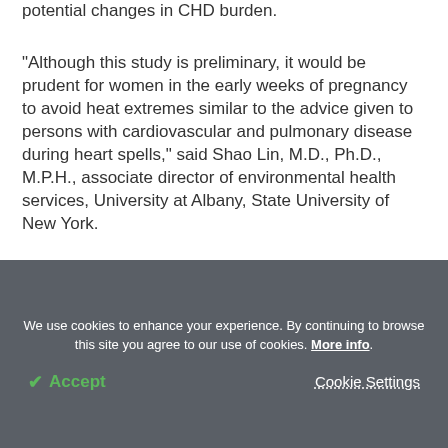potential changes in CHD burden.
"Although this study is preliminary, it would be prudent for women in the early weeks of pregnancy to avoid heat extremes similar to the advice given to persons with cardiovascular and pulmonary disease during heart spells," said Shao Lin, M.D., Ph.D., M.P.H., associate director of environmental health services, University at Albany, State University of New York.
[Figure (other): News Medical Life Sciences banner with envelope icon and text: Sign up to our Targeted Newsletters]
We use cookies to enhance your experience. By continuing to browse this site you agree to our use of cookies. More info.
✓ Accept   Cookie Settings